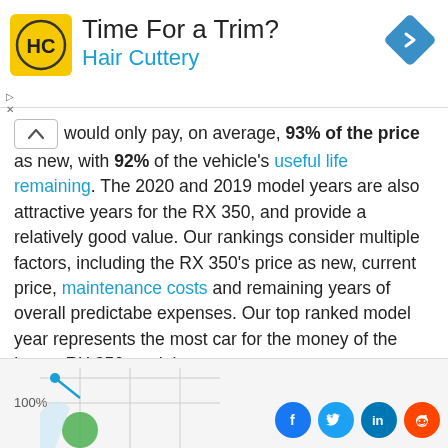[Figure (infographic): Hair Cuttery advertisement banner with yellow logo showing HC letters, title 'Time For a Trim?', subtitle 'Hair Cuttery', and a blue diamond navigation icon in the top right corner.]
would only pay, on average, 93% of the price as new, with 92% of the vehicle's useful life remaining. The 2020 and 2019 model years are also attractive years for the RX 350, and provide a relatively good value. Our rankings consider multiple factors, including the RX 350's price as new, current price, maintenance costs and remaining years of overall predictabe expenses. Our top ranked model year represents the most car for the money of the Lexus RX 350 models.
[Figure (other): Partial line chart at the bottom of the page showing 100% label on y-axis and beginning of a chart with blue and green data points. Social sharing icons for Facebook, Twitter, LinkedIn, and Reddit appear at the bottom right.]